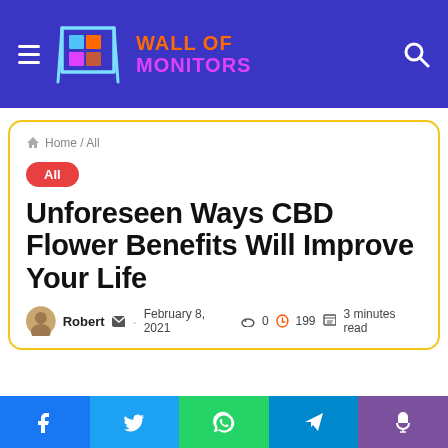Wall of Monitors
Home / All
All
Unforeseen Ways CBD Flower Benefits Will Improve Your Life
Robert · February 8, 2021 · 0 · 199 · 3 minutes read